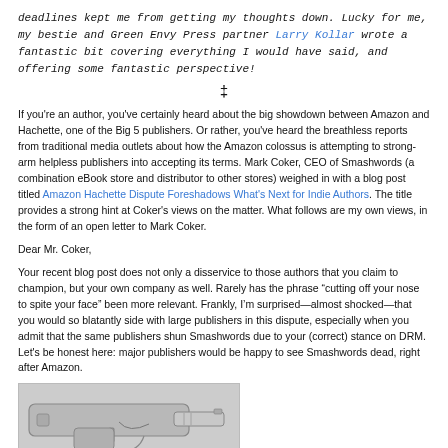deadlines kept me from getting my thoughts down. Lucky for me, my bestie and Green Envy Press partner Larry Kollar wrote a fantastic bit covering everything I would have said, and offering some fantastic perspective!
‡
If you're an author, you've certainly heard about the big showdown between Amazon and Hachette, one of the Big 5 publishers. Or rather, you've heard the breathless reports from traditional media outlets about how the Amazon colossus is attempting to strong-arm helpless publishers into accepting its terms. Mark Coker, CEO of Smashwords (a combination eBook store and distributor to other stores) weighed in with a blog post titled Amazon Hachette Dispute Foreshadows What's Next for Indie Authors. The title provides a strong hint at Coker's views on the matter. What follows are my own views, in the form of an open letter to Mark Coker.
Dear Mr. Coker,
Your recent blog post does not only a disservice to those authors that you claim to champion, but your own company as well. Rarely has the phrase “cutting off your nose to spite your face” been more relevant. Frankly, I’m surprised—almost shocked—that you would so blatantly side with large publishers in this dispute, especially when you admit that the same publishers shun Smashwords due to your (correct) stance on DRM. Let's be honest here: major publishers would be happy to see Smashwords dead, right after Amazon.
[Figure (illustration): Partial view of a cartoon/illustration of a gun or mechanical device, gray tones with line art style, cropped at bottom of page.]